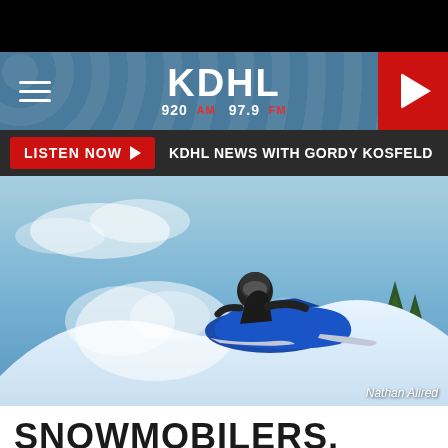[Figure (logo): KDHL radio station logo with 920 AM and 97.9 FM frequencies on a textured blue-grey background header with hamburger menu and play button]
LISTEN NOW  KDHL NEWS WITH GORDY KOSFELD
[Figure (photo): A snowmobiler on a blue snowmobile jumping over a snow hill with blue sky and trees in background. Photo credit: Nathan Allred]
SNOWMOBILERS, ENJOY ALL THE